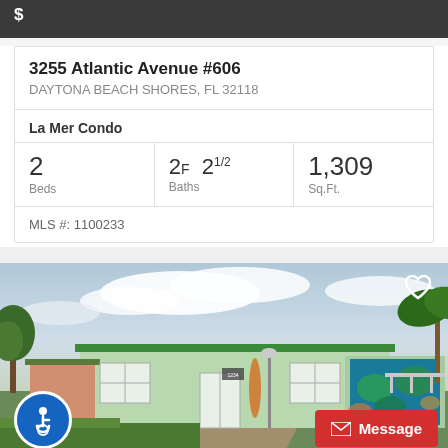[Figure (photo): Dark header bar with price text partially visible]
3255 Atlantic Avenue #606
DAYTONA BEACH SHORES, FL 32118
La Mer Condo
| Beds | Baths | Sq.Ft. |
| --- | --- | --- |
| 2 | 2F 21/2 | 1,309 |
MLS #: 1100233
[Figure (photo): Exterior photo of a mint green ranch-style house with a decorative sea turtle mural on the garage door, a surfboard near the front, palm trees, and a cloudy sky. There is a heart icon in the top right, an accessibility icon in the bottom left, and a red Message button in the bottom right.]